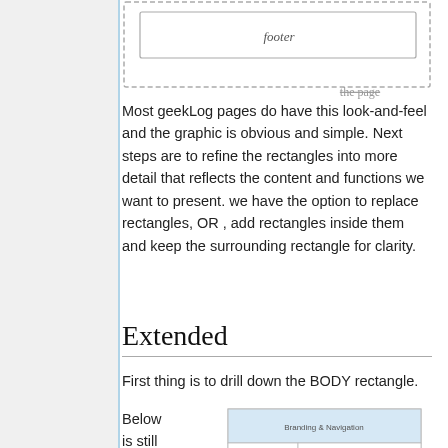[Figure (schematic): Wireframe diagram showing a page layout with a dashed border labeled 'the page' and a 'footer' rectangle inside]
Most geekLog pages do have this look-and-feel and the graphic is obvious and simple. Next steps are to refine the rectangles into more detail that reflects the content and functions we want to present. we have the option to replace rectangles, OR , add rectangles inside them and keep the surrounding rectangle for clarity.
Extended
First thing is to drill down the BODY rectangle.
Below is still a
[Figure (schematic): Wireframe diagram showing an extended page layout with Branding & Navigation area at top and body sections below]